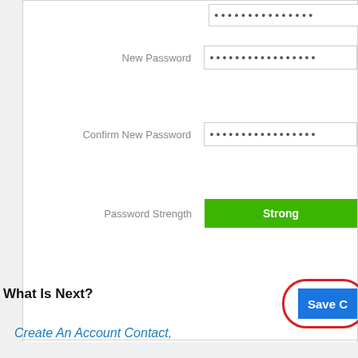[Figure (screenshot): Password change form showing New Password field, Confirm New Password field, Password Strength indicator showing Strong in green, and a Save Changes button highlighted with a red oval. Below is a section titled What Is Next? with a link Create An Account Contact.]
New Password
Confirm New Password
Password Strength
Strong
Save C
What Is Next?
Create An Account Contact,